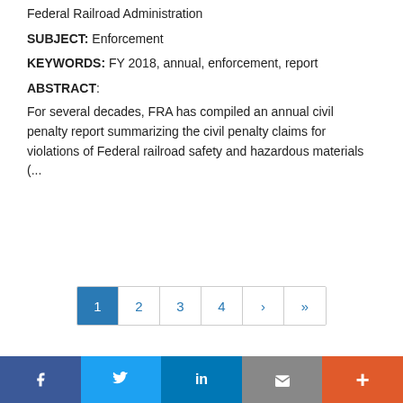Federal Railroad Administration
SUBJECT: Enforcement
KEYWORDS: FY 2018, annual, enforcement, report
ABSTRACT:
For several decades, FRA has compiled an annual civil penalty report summarizing the civil penalty claims for violations of Federal railroad safety and hazardous materials (...
[Figure (other): Pagination control with buttons: 1 (active/selected), 2, 3, 4, next arrow, last arrow]
[Figure (other): Social media sharing bar with Facebook, Twitter, LinkedIn, Email, and Plus buttons]